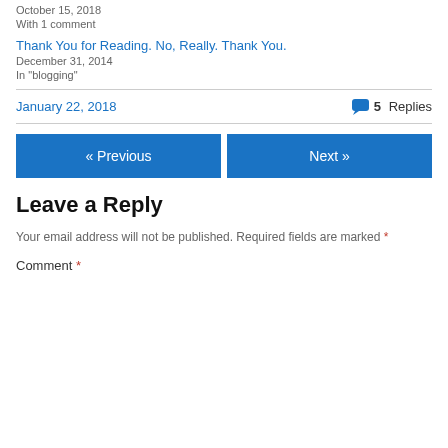October 15, 2018
With 1 comment
Thank You for Reading. No, Really. Thank You.
December 31, 2014
In "blogging"
January 22, 2018
5 Replies
« Previous
Next »
Leave a Reply
Your email address will not be published. Required fields are marked *
Comment *